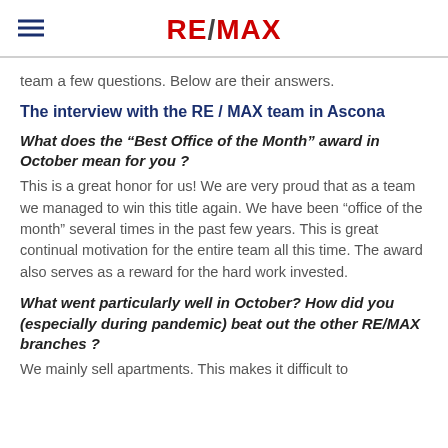RE/MAX
team a few questions. Below are their answers.
The interview with the RE / MAX team in Ascona
What does the “Best Office of the Month” award in October mean for you ?
This is a great honor for us! We are very proud that as a team we managed to win this title again. We have been “office of the month” several times in the past few years. This is great continual motivation for the entire team all this time. The award also serves as a reward for the hard work invested.
What went particularly well in October? How did you (especially during pandemic) beat out the other RE/MAX branches ?
We mainly sell apartments. This makes it difficult to